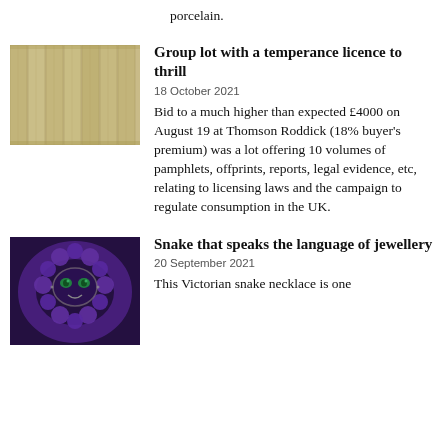porcelain.
[Figure (photo): Group of approximately 10 bound volumes or pamphlets standing upright, with yellowed/beige spines]
Group lot with a temperance licence to thrill
18 October 2021
Bid to a much higher than expected £4000 on August 19 at Thomson Roddick (18% buyer's premium) was a lot offering 10 volumes of pamphlets, offprints, reports, legal evidence, etc, relating to licensing laws and the campaign to regulate consumption in the UK.
[Figure (photo): Close-up of a Victorian snake necklace or brooch with purple gemstones and green eyes, in silver metal setting]
Snake that speaks the language of jewellery
20 September 2021
This Victorian snake necklace is one